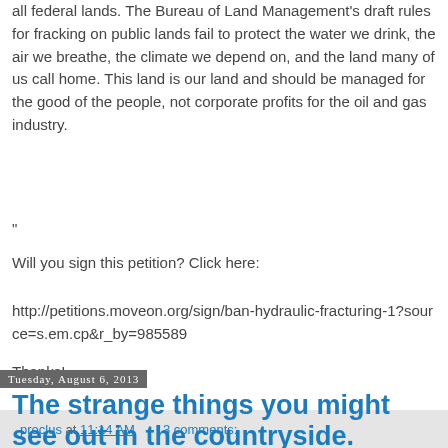all federal lands. The Bureau of Land Management's draft rules for fracking on public lands fail to protect the water we drink, the air we breathe, the climate we depend on, and the land many of us call home. This land is our land and should be managed for the good of the people, not corporate profits for the oil and gas industry.
"
Will you sign this petition? Click here:
http://petitions.moveon.org/sign/ban-hydraulic-fracturing-1?source=s.em.cp&r_by=985589
Thanks!
proclus at 11:14 AM    3 comments:
Tuesday, August 6, 2013
The strange things you might see out in the countryside. Clashing combines!